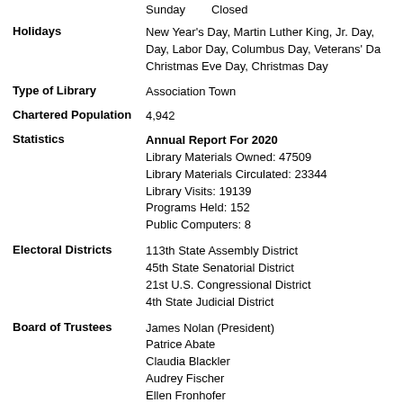Sunday   Closed
Holidays: New Year's Day, Martin Luther King, Jr. Day, Day, Labor Day, Columbus Day, Veterans' Da, Christmas Eve Day, Christmas Day
Type of Library: Association Town
Chartered Population: 4,942
Statistics - Annual Report For 2020. Library Materials Owned: 47509. Library Materials Circulated: 23344. Library Visits: 19139. Programs Held: 152. Public Computers: 8
Electoral Districts: 113th State Assembly District, 45th State Senatorial District, 21st U.S. Congressional District, 4th State Judicial District
Board of Trustees: James Nolan (President), Patrice Abate, Claudia Blackler, Audrey Fischer, Ellen Fronhofer, K. Walter Grom, Patrice Isgro, Naomi Meyer, Teri Pendergrass